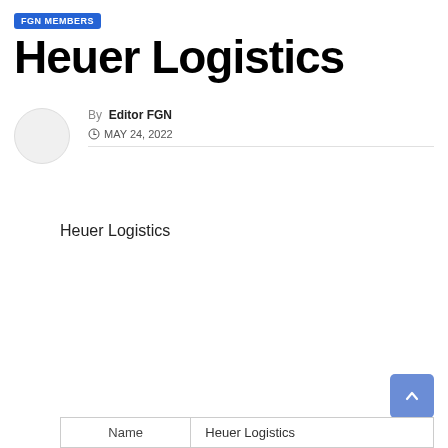FGN MEMBERS
Heuer Logistics
By Editor FGN
MAY 24, 2022
Heuer Logistics
| Name | Heuer Logistics |
| --- | --- |